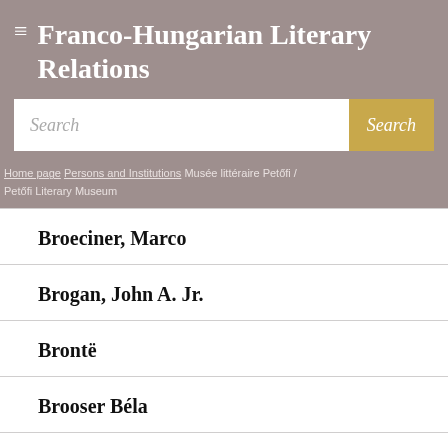Franco-Hungarian Literary Relations
Search
Home page / Persons and Institutions / Musée littéraire Petőfi / Petőfi Literary Museum
Broeciner, Marco
Brogan, John A. Jr.
Brontë
Brooser Béla